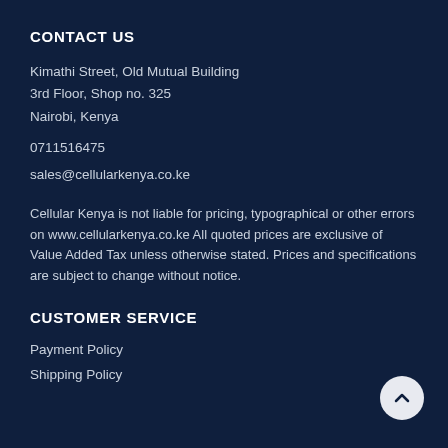CONTACT US
Kimathi Street, Old Mutual Building
3rd Floor, Shop no. 325
Nairobi, Kenya
0711516475
sales@cellularkenya.co.ke
Cellular Kenya is not liable for pricing, typographical or other errors on www.cellularkenya.co.ke All quoted prices are exclusive of Value Added Tax unless otherwise stated. Prices and specifications are subject to change without notice.
CUSTOMER SERVICE
Payment Policy
Shipping Policy